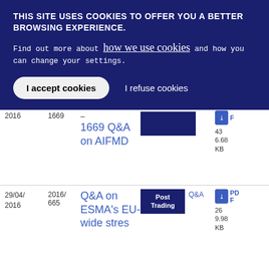THIS SITE USES COOKIES TO OFFER YOU A BETTER BROWSING EXPERIENCE.
Find out more about how we use cookies and how you can change your settings.
I accept cookies | I refuse cookies
| Date | Ref | Title | Tag | Type | Download |
| --- | --- | --- | --- | --- | --- |
| 2016 | 1669 | –
1669 Q&A on AIFMD | [blue bar] |  | PDF
43
6.68 KB |
| 29/04/2016 | 2016/665 | Q&A on ESMA's EU-wide stres | Post Trading | Q&A | PDF
26
9.98 KB |